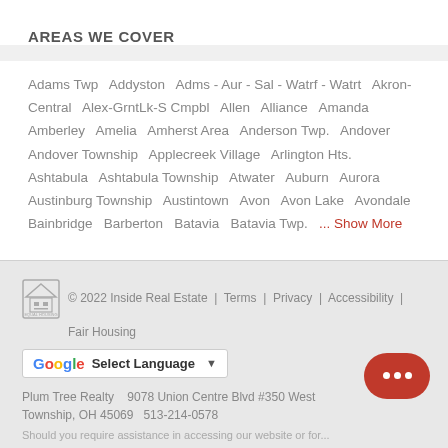AREAS WE COVER
Adams Twp  Addyston  Adms - Aur - Sal - Watrf - Watrt  Akron-Central  Alex-GrntLk-S Cmpbl  Allen  Alliance  Amanda  Amberley  Amelia  Amherst Area  Anderson Twp.  Andover  Andover Township  Applecreek Village  Arlington Hts.  Ashtabula  Ashtabula Township  Atwater  Auburn  Aurora  Austinburg Township  Austintown  Avon  Avon Lake  Avondale  Bainbridge  Barberton  Batavia  Batavia Twp.  ... Show More
© 2022 Inside Real Estate | Terms | Privacy | Accessibility | Fair Housing
Plum Tree Realty   9078 Union Centre Blvd #350 West Township, OH 45069 513-214-0578